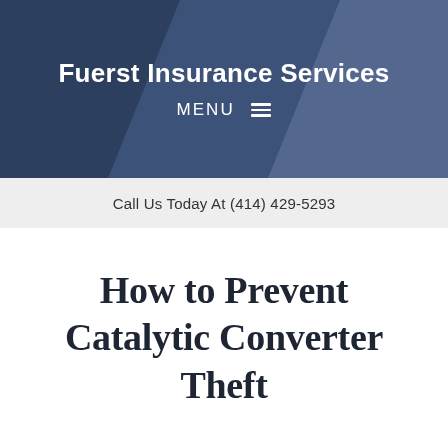Fuerst Insurance Services
MENU
Call Us Today At (414) 429-5293
How to Prevent Catalytic Converter Theft